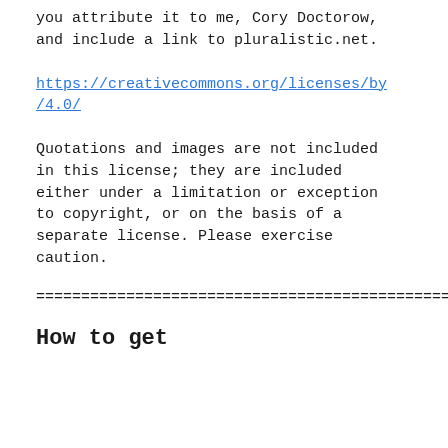you attribute it to me, Cory Doctorow, and include a link to pluralistic.net.
https://creativecommons.org/licenses/by/4.0/
Quotations and images are not included in this license; they are included either under a limitation or exception to copyright, or on the basis of a separate license. Please exercise caution.
==============================================
How to get